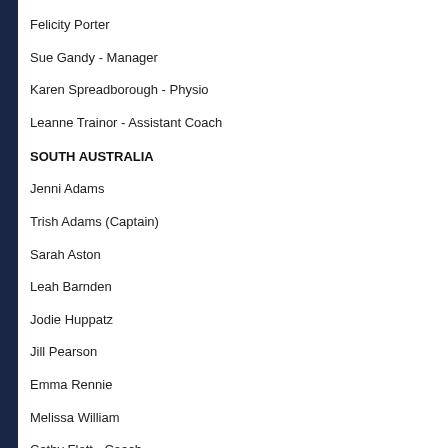Felicity Porter
Sue Gandy - Manager
Karen Spreadborough - Physio
Leanne Trainor - Assistant Coach
SOUTH AUSTRALIA
Jenni Adams
Trish Adams (Captain)
Sarah Aston
Leah Barnden
Jodie Huppatz
Jill Pearson
Emma Rennie
Melissa William
Cathy Flett - Coach
WESTERN AUSTRALIA